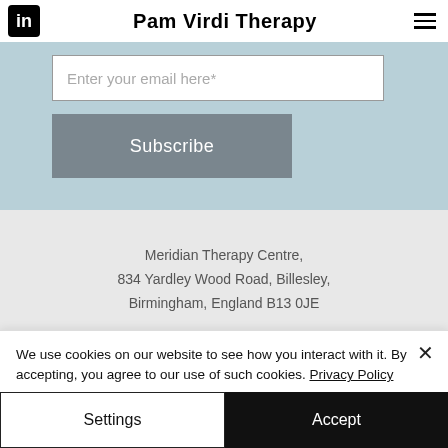Pam Virdi Therapy
Enter your email here*
Subscribe
Meridian Therapy Centre, 834 Yardley Wood Road, Billesley, Birmingham, England B13 0JE
Privacy Policy
We use cookies on our website to see how you interact with it. By accepting, you agree to our use of such cookies. Privacy Policy
Settings
Accept